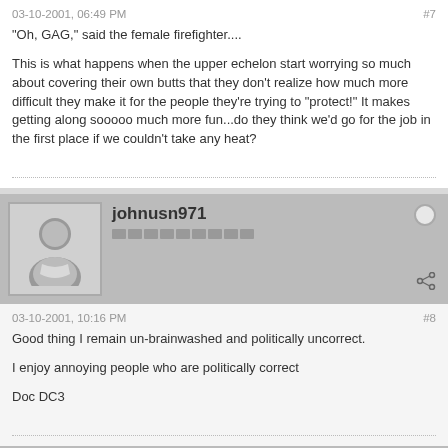03-10-2001, 06:49 PM
#7
"Oh, GAG," said the female firefighter....
This is what happens when the upper echelon start worrying so much about covering their own butts that they don't realize how much more difficult they make it for the people they're trying to "protect!" It makes getting along sooooo much more fun...do they think we'd go for the job in the first place if we couldn't take any heat?
johnusn971
03-10-2001, 10:16 PM
#8
Good thing I remain un-brainwashed and politically uncorrect.
I enjoy annoying people who are politically correct
Doc DC3